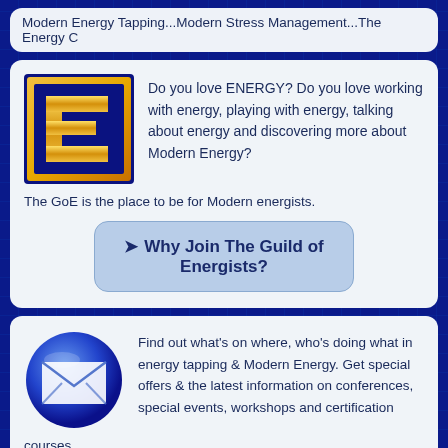Modern Energy Tapping...Modern Stress Management...The Energy C
[Figure (logo): GoE logo: gold square border with large gold letter E on dark blue background]
Do you love ENERGY? Do you love working with energy, playing with energy, talking about energy and discovering more about Modern Energy?
The GoE is the place to be for Modern energists.
➤ Why Join The Guild of Energists?
[Figure (illustration): Blue circular button icon with white envelope/letter symbol in the center]
Find out what's on where, who's doing what in energy tapping & Modern Energy. Get special offers & the latest information on conferences, special events, workshops and certification courses.